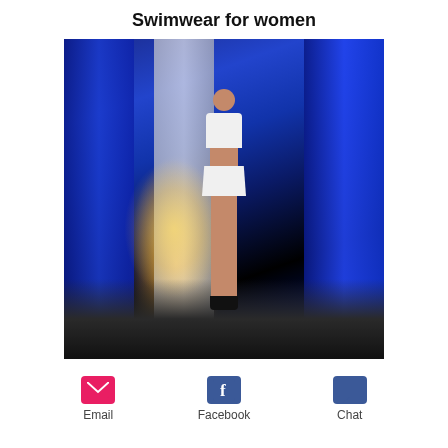Swimwear for women
[Figure (photo): A female model walking on a fashion show runway wearing a white bikini top and white mini skirt with black heels. Blue velvet curtains and a bright spotlight are visible in the background on a dark stage.]
Email
Facebook
Chat